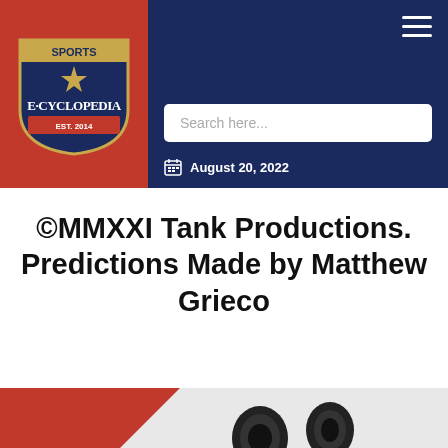[Figure (logo): Sports E-Cyclopedia logo — shield/badge shape with 'SPORTS' at top and 'E·CYCLOPEDIA' in large vintage lettering, red and navy background]
Search here...
August 20, 2022
©MMXXI Tank Productions. Predictions Made by Matthew Grieco
[Figure (photo): Partially visible photo with red diagonal element and dark camera lens-like objects on white/light background]